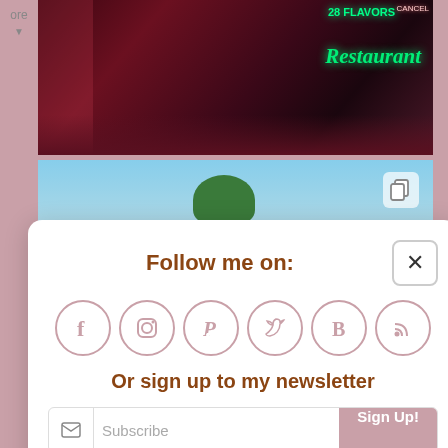[Figure (photo): Dark neon-lit restaurant street scene with signs reading '28 FLAVORS' and 'Restaurant' in green neon lighting]
[Figure (photo): Outdoor daytime photo with blue sky, trees, and a white building structure]
Follow me on:
[Figure (infographic): Row of 6 social media icon circles: Facebook, Instagram, Pinterest, Twitter, Bloglovin, RSS]
Or sign up to my newsletter
Subscribe
Sign Up!
[Figure (photo): Pink flowers (petunias) in green foliage garden bed]